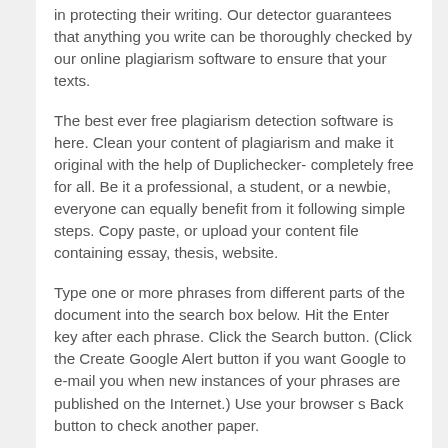in protecting their writing. Our detector guarantees that anything you write can be thoroughly checked by our online plagiarism software to ensure that your texts.
The best ever free plagiarism detection software is here. Clean your content of plagiarism and make it original with the help of Duplichecker- completely free for all. Be it a professional, a student, or a newbie, everyone can equally benefit from it following simple steps. Copy paste, or upload your content file containing essay, thesis, website.
Type one or more phrases from different parts of the document into the search box below. Hit the Enter key after each phrase. Click the Search button. (Click the Create Google Alert button if you want Google to e-mail you when new instances of your phrases are published on the Internet.) Use your browser s Back button to check another paper.
Please type the words below to continue In order to prevent automated abuse of the service, please verify you are a human by typing the words below: NOTE: Premium users should not be seeing this message. If you subscribe to the premium version